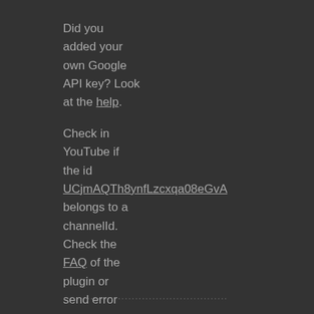Did you added your own Google API key? Look at the help.
Check in YouTube if the id UCjmAQTh8ynfLzcxqa08eGvA belongs to a channelId. Check the FAQ of the plugin or send error messages to support.
................................................